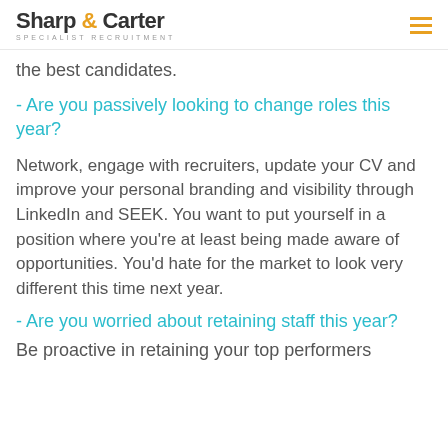Sharp & Carter SPECIALIST RECRUITMENT
the best candidates.
- Are you passively looking to change roles this year?
Network, engage with recruiters, update your CV and improve your personal branding and visibility through LinkedIn and SEEK. You want to put yourself in a position where you're at least being made aware of opportunities. You'd hate for the market to look very different this time next year.
- Are you worried about retaining staff this year?
Be proactive in retaining your top performers